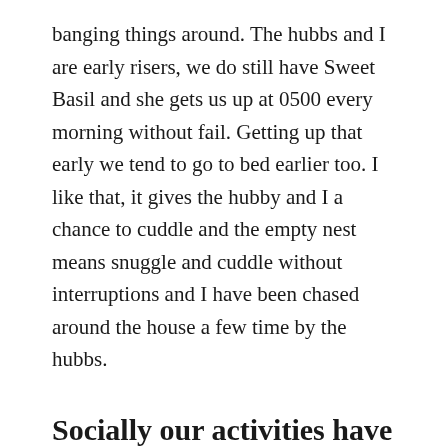banging things around. The hubbs and I are early risers, we do still have Sweet Basil and she gets us up at 0500 every morning without fail. Getting up that early we tend to go to bed earlier too. I like that, it gives the hubby and I a chance to cuddle and the empty nest means snuggle and cuddle without interruptions and I have been chased around the house a few time by the hubbs.
Socially our activities have either been family or kids
Socially our activities have been geared to family or kids events. The hubbs and I were